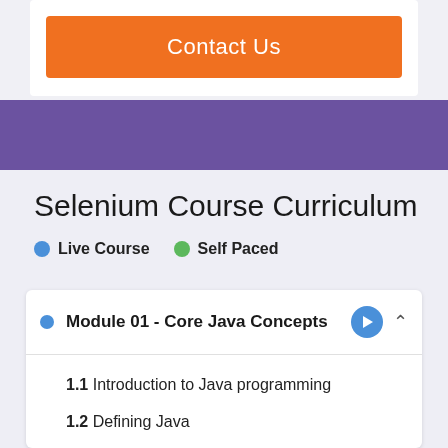[Figure (other): Orange Contact Us button on white card background]
Selenium Course Curriculum
Live Course   Self Paced
Module 01 - Core Java Concepts
1.1 Introduction to Java programming
1.2 Defining Java
1.3 Need for Java